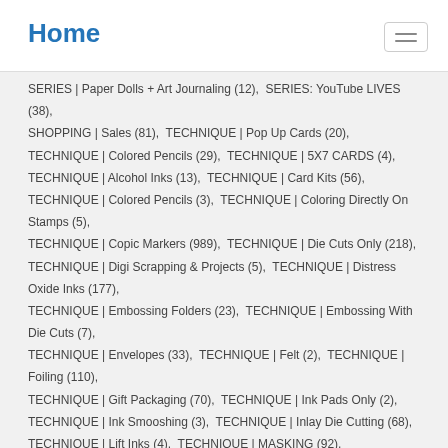Home
SERIES | Paper Dolls + Art Journaling (12),  SERIES: YouTube LIVES (38),  SHOPPING | Sales (81),  TECHNIQUE | Pop Up Cards (20),  TECHNIQUE | Colored Pencils (29),  TECHNIQUE | 5X7 CARDS (4),  TECHNIQUE | Alcohol Inks (13),  TECHNIQUE | Card Kits (56),  TECHNIQUE | Colored Pencils (3),  TECHNIQUE | Coloring Directly On Stamps (5),  TECHNIQUE | Copic Markers (989),  TECHNIQUE | Die Cuts Only (218),  TECHNIQUE | Digi Scrapping & Projects (5),  TECHNIQUE | Distress Oxide Inks (177),  TECHNIQUE | Embossing Folders (23),  TECHNIQUE | Embossing With Die Cuts (7),  TECHNIQUE | Envelopes (33),  TECHNIQUE | Felt (2),  TECHNIQUE | Foiling (110),  TECHNIQUE | Gift Packaging (70),  TECHNIQUE | Ink Pads Only (2),  TECHNIQUE | Ink Smooshing (3),  TECHNIQUE | Inlay Die Cutting (68),  TECHNIQUE | Lift Inks (4),  TECHNIQUE | MASKING (92),  TECHNIQUE | Mini Slimline (14),  TECHNIQUE | Multi Step Stamp Layering (17),  TECHNIQUE | No Line Coloring (92),  TECHNIQUE | Paper Piecing (33),  TECHNIQUE | Patterned Paper (92),  TECHNIQUE | Pull Tab Slider (28),  TECHNIQUE | Resist (23),  TECHNIQUE | Shaped Cards (19),